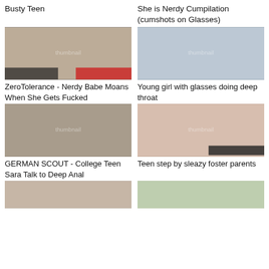Busty Teen
She is Nerdy Cumpilation (cumshots on Glasses)
[Figure (photo): Thumbnail of video: ZeroTolerance - Nerdy Babe Moans When She Gets Fucked]
ZeroTolerance - Nerdy Babe Moans When She Gets Fucked
[Figure (photo): Thumbnail of video: Young girl with glasses doing deep throat]
Young girl with glasses doing deep throat
[Figure (photo): Thumbnail of video: GERMAN SCOUT - College Teen Sara Talk to Deep Anal]
GERMAN SCOUT - College Teen Sara Talk to Deep Anal
[Figure (photo): Thumbnail of video: Teen step by sleazy foster parents]
Teen step by sleazy foster parents
[Figure (photo): Thumbnail of partially visible video bottom row left]
[Figure (photo): Thumbnail of partially visible video bottom row right]